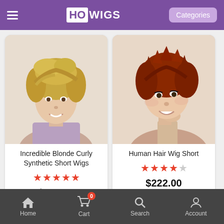HOWIGS - Categories
[Figure (photo): Woman wearing Incredible Blonde Curly Synthetic Short Wigs]
Incredible Blonde Curly Synthetic Short Wigs
★★★★★ (5 stars)
$120.00
[Figure (photo): Woman wearing Human Hair Wig Short]
Human Hair Wig Short
★★★★☆ (4 stars)
$222.00
[Figure (photo): Partial view of blonde wig product]
[Figure (photo): Partial view of dark wig product]
Home | Cart (0) | Search | Account